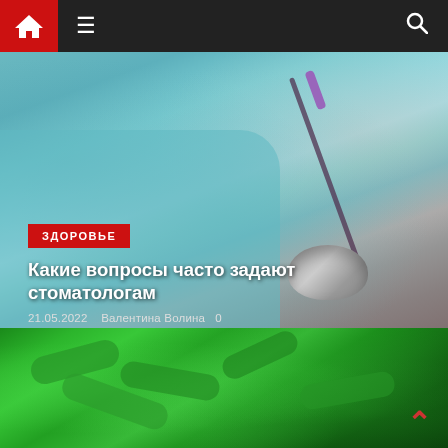Navigation bar with home, menu, and search icons
[Figure (photo): Dental procedure photo showing a patient in a teal bib with a dentist holding a purple UV light tool near a metal bowl instrument]
ЗДОРОВЬЕ
Какие вопросы часто задают стоматологам
21.05.2022   Валентина Волина   0
[Figure (photo): Close-up macro photo of green bacteria or microorganisms on a dark background]